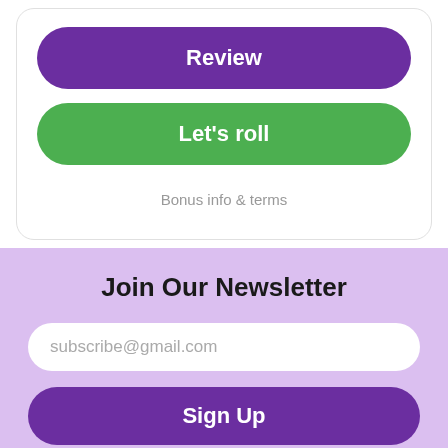Review
Let's roll
Bonus info & terms
Join Our Newsletter
subscribe@gmail.com
Sign Up